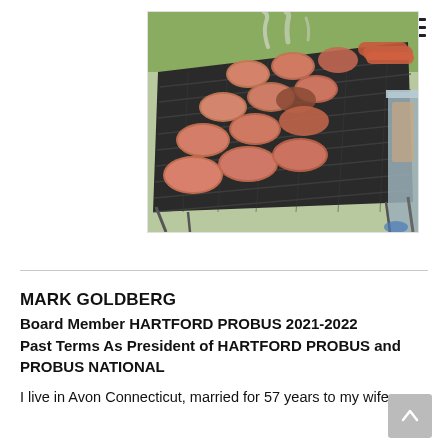[Figure (photo): A large outdoor grill covered with many burger patties and sausages cooking, with smoke rising, on a sunny day with grass visible in the background.]
MARK GOLDBERG
Board Member HARTFORD PROBUS 2021-2022
Past Terms As President of HARTFORD PROBUS and PROBUS NATIONAL
I live in Avon Connecticut, married for 57 years to my wife,